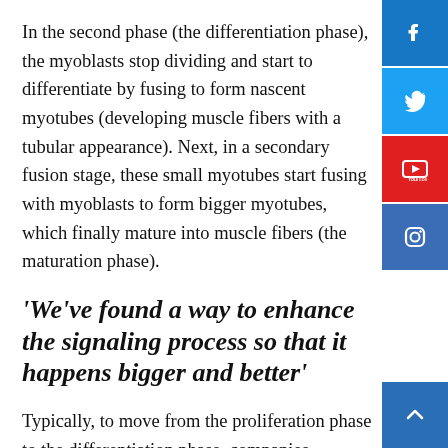In the second phase (the differentiation phase), the myoblasts stop dividing and start to differentiate by fusing to form nascent myotubes (developing muscle fibers with a tubular appearance). Next, in a secondary fusion stage, these small myotubes start fusing with myoblasts to form bigger myotubes, which finally mature into muscle fibers (the maturation phase).
‘We’ve found a way to enhance the signaling process so that it happens bigger and better’
Typically, to move from the proliferation phase to the differentiation phase, companies